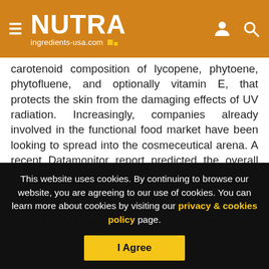NUTRA ingredients-usa.com
carotenoid composition of lycopene, phytoene, phytofluene, and optionally vitamin E, that protects the skin from the damaging effects of UV radiation. Increasingly, companies already involved in the functional food market have been looking to spread into the cosmeceutical arena. A recent Datamonitor report predicted the overall European cosmeceuticals market to grow to $4.4bn (€3.4bn) in 2009, up 5 per cent from today. This includes all cosmetic products containing at least one bio-active ingredient for the skin. The journal New Nutrition Business' 10 Key Trends in Food,
This website uses cookies. By continuing to browse our website, you are agreeing to our use of cookies. You can learn more about cookies by visiting our privacy & cookies policy page.